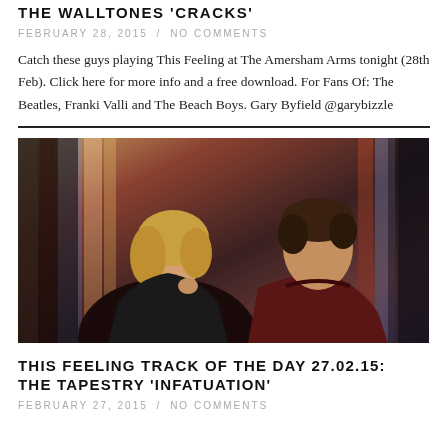THE WALLTONES 'CRACKS'
FEBRUARY 28, 2015 / NO COMMENTS
Catch these guys playing This Feeling at The Amersham Arms tonight (28th Feb). Click here for more info and a free download. For Fans Of: The Beatles, Franki Valli and The Beach Boys. Gary Byfield @garybizzle
[Figure (photo): Two young people standing against a backdrop of clothing. Left: woman with short blonde hair in a leather jacket. Right: young man with dark hair in a dark red top.]
THIS FEELING TRACK OF THE DAY 27.02.15: THE TAPESTRY 'INFATUATION'
FEBRUARY 27, 2015 / NO COMMENTS